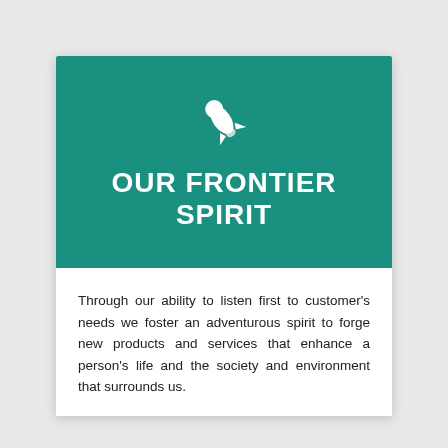[Figure (illustration): White rocket ship icon on teal background]
OUR FRONTIER SPIRIT
Through our ability to listen first to customer's needs we foster an adventurous spirit to forge new products and services that enhance a person's life and the society and environment that surrounds us.